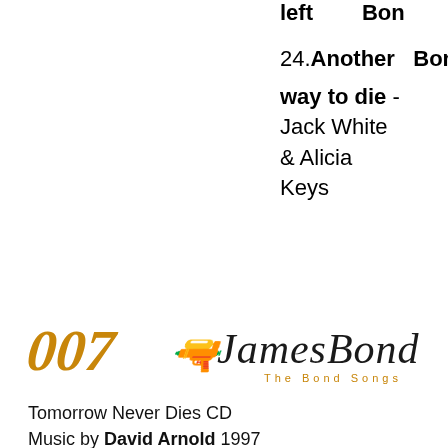left   Bon
24. Another way to die - Jack White & Alicia Keys   Bon
[Figure (logo): 007 James Bond - The Bond Songs logo with golden 007 text and cursive James Bond signature]
Tomorrow Never Dies CD
Music by David Arnold 1997